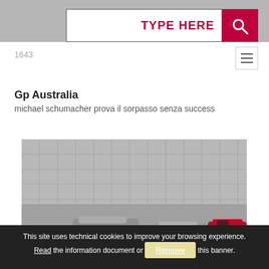[Figure (photo): Top banner photo of a racing event crowd/track stands, blurred/muted grey tones]
[Figure (screenshot): Search bar with text TYPE HERE and a red search button with magnifying glass icon]
1643
[Figure (other): Hamburger menu icon (three horizontal lines)]
Gp Australia
michael schumacher prova il sorpasso senza success
[Figure (photo): Formula 1 race photo showing F1 cars on track at the Australian Grand Prix, including a red Ferrari car on the right side, crowd visible in stands behind fencing]
This site uses technical cookies to improve your browsing experience. Read the information document or Remove this banner.